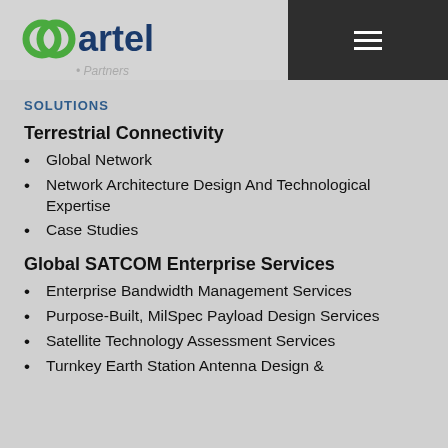[Figure (logo): Artel logo with green interlinked circles and blue 'artel' text]
Partners
SOLUTIONS
Terrestrial Connectivity
Global Network
Network Architecture Design And Technological Expertise
Case Studies
Global SATCOM Enterprise Services
Enterprise Bandwidth Management Services
Purpose-Built, MilSpec Payload Design Services
Satellite Technology Assessment Services
Turnkey Earth Station Antenna Design &